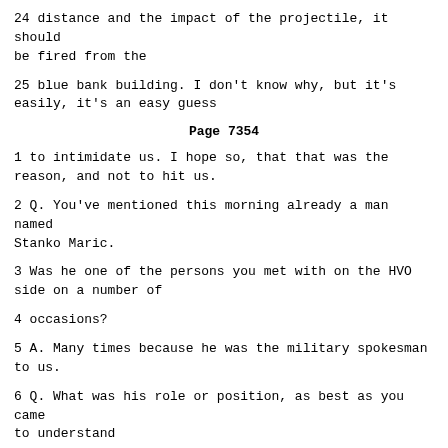24 distance and the impact of the projectile, it should be fired from the
25 blue bank building. I don't know why, but it's easily, it's an easy guess
Page 7354
1 to intimidate us. I hope so, that that was the reason, and not to hit us.
2 Q. You've mentioned this morning already a man named Stanko Maric.
3 Was he one of the persons you met with on the HVO side on a number of
4 occasions?
5 A. Many times because he was the military spokesman to us.
6 Q. What was his role or position, as best as you came to understand
7 it at that time?
8 A. Well, he gave the official answers upon our questions and that
9 were, of course, questions directed directly to the